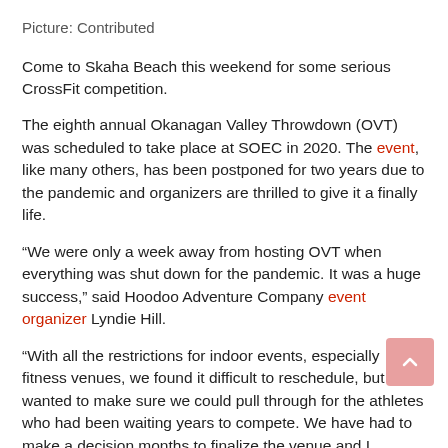Picture: Contributed
Come to Skaha Beach this weekend for some serious CrossFit competition.
The eighth annual Okanagan Valley Throwdown (OVT) was scheduled to take place at SOEC in 2020. The event, like many others, has been postponed for two years due to the pandemic and organizers are thrilled to give it a finally life.
“We were only a week away from hosting OVT when everything was shut down for the pandemic. It was a huge success,” said Hoodoo Adventure Company event organizer Lyndie Hill.
“With all the restrictions for indoor events, especially fitness venues, we found it difficult to reschedule, but we wanted to make sure we could pull through for the athletes who had been waiting years to compete. We have had to make a decision months to finalize the venue and I